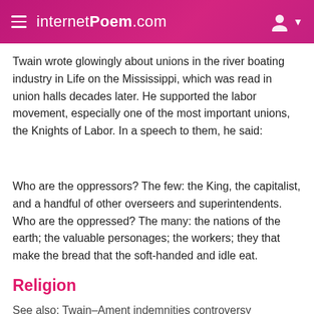internetPoem.com
Twain wrote glowingly about unions in the river boating industry in Life on the Mississippi, which was read in union halls decades later. He supported the labor movement, especially one of the most important unions, the Knights of Labor. In a speech to them, he said:
Who are the oppressors? The few: the King, the capitalist, and a handful of other overseers and superintendents. Who are the oppressed? The many: the nations of the earth; the valuable personages; the workers; they that make the bread that the soft-handed and idle eat.
Religion
See also: Twain–Ament indemnities controversy